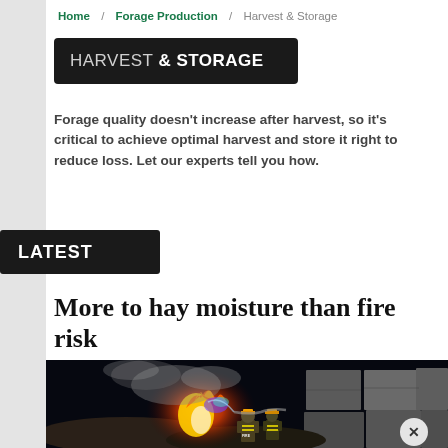Home / Forage Production / Harvest & Storage
HARVEST & STORAGE
Forage quality doesn't increase after harvest, so it's critical to achieve optimal harvest and store it right to reduce loss. Let our experts tell you how.
LATEST
More to hay moisture than fire risk
[Figure (photo): Nighttime fire scene showing firefighters battling a hay fire with flames and smoke visible against dark sky, large bale structures in background]